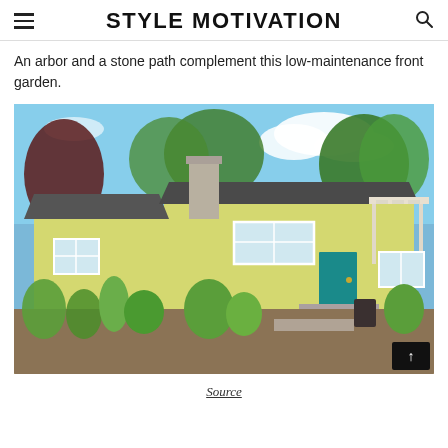STYLE MOTIVATION
An arbor and a stone path complement this low-maintenance front garden.
[Figure (photo): A yellow single-story house with a teal front door, white pergola/arbor on the right side, brick chimney, and a lush low-maintenance front garden with stone path steps leading to the entrance. Blue sky and green trees in the background.]
Source